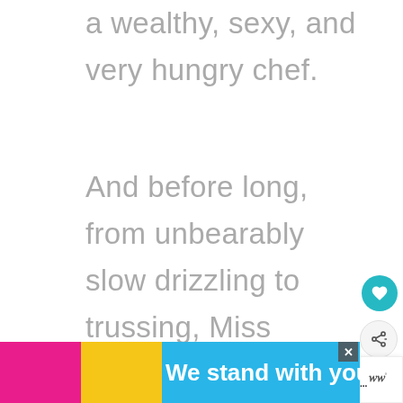a wealthy, sexy, and very hungry chef.
And before long, from unbearably slow drizzling to trussing, Miss Chicken discovers the sheer thrill of becoming the main course. A parody in three acts—"The Novice Bird" (easy recipes for
[Figure (other): Teal circular heart/favorite button icon]
[Figure (other): Share button icon (circular, light grey)]
[Figure (other): "WHAT'S NEXT" overlay with Greek Yogurt article thumbnail and title]
[Figure (other): Advertisement banner: colorful (pink, yellow, sky blue) with bold white text 'We stand with you.' and a close button X, plus a logo on the right]